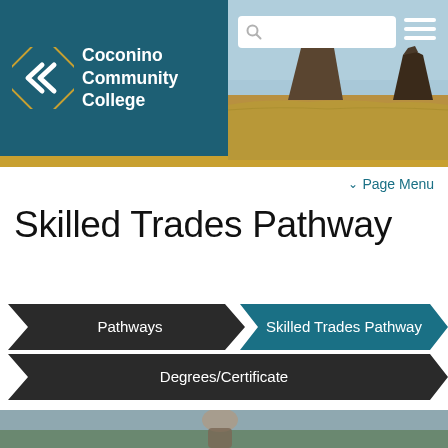[Figure (screenshot): Coconino Community College website header with logo, search bar, hamburger menu, and Monument Valley landscape hero image]
∨ Page Menu
Skilled Trades Pathway
[Figure (infographic): Breadcrumb navigation: Pathways arrow → Skilled Trades Pathway (teal arrow)]
[Figure (infographic): Second breadcrumb row: Degrees/Certificate (dark arrow)]
[Figure (photo): Partial bottom photo showing a person outdoors]